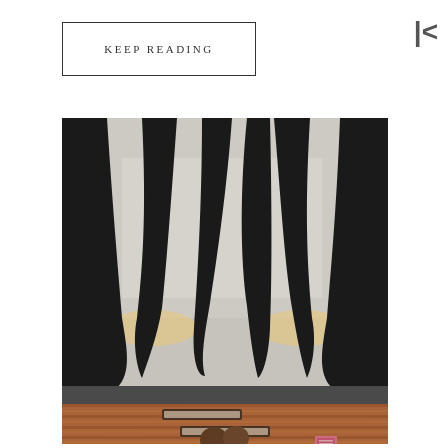KEEP READING
[Figure (photo): Architectural photo showing a modern building interior/exterior with dramatic curved black structural ribs against a concrete ceiling, warm wood-paneled wall below, and two people appearing to kiss at the bottom center of the frame.]